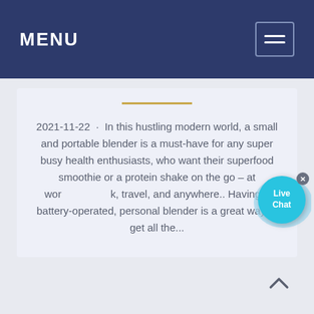MENU
2021-11-22 · In this hustling modern world, a small and portable blender is a must-have for any super busy health enthusiasts, who want their superfood smoothie or a protein shake on the go – at work, travel, and anywhere.. Having a battery-operated, personal blender is a great way to get all the...